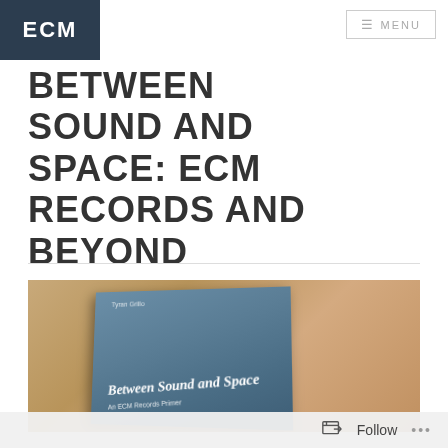ECM
BETWEEN SOUND AND SPACE: ECM RECORDS AND BEYOND
[Figure (photo): A blue book titled 'Between Sound and Space: An ECM Records Primer' by Tyran Grillo resting on a wooden surface, photographed at an angle.]
Follow